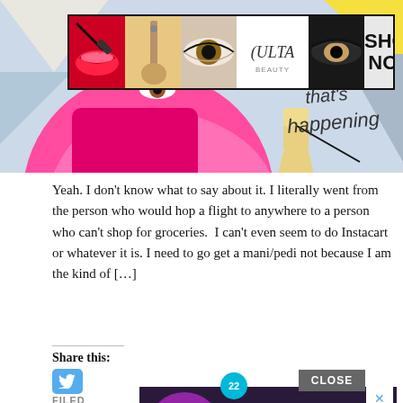[Figure (screenshot): Pop-art illustration of a woman holding a drink, colorful geometric shapes background. Overlaid with a makeup/beauty ULTA advertisement banner showing lip, brush, eye, ULTA logo, eye, and SHOP NOW sections.]
Yeah. I don't know what to say about it. I literally went from the person who would hop a flight to anywhere to a person who can't shop for groceries.  I can't even seem to do Instacart or whatever it is. I need to go get a mani/pedi not because I am the kind of [...]
Share this:
[Figure (screenshot): Bottom advertisement overlay showing purple headphones with '22' badge and text '37 GENIUS AMAZON PRODUCTS THAT CAN BE USED BY ANYONE'. Has CLOSE button and X button.]
FILED